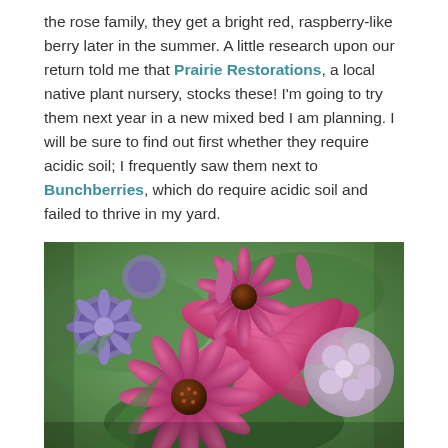the rose family, they get a bright red, raspberry-like berry later in the summer. A little research upon our return told me that Prairie Restorations, a local native plant nursery, stocks these! I'm going to try them next year in a new mixed bed I am planning. I will be sure to find out first whether they require acidic soil; I frequently saw them next to Bunchberries, which do require acidic soil and failed to thrive in my yard.
[Figure (photo): Close-up photograph of a colorful mixed flower bouquet featuring pink coneflowers (Echinacea), pink lilies, purple aster-like flowers, and light pink hydrangeas against a green leafy background.]